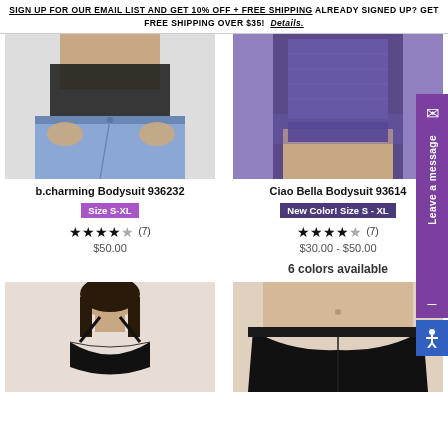SIGN UP FOR OUR EMAIL LIST AND GET 10% OFF + FREE SHIPPING ALREADY SIGNED UP? GET FREE SHIPPING OVER $35! Details.
[Figure (photo): Woman wearing black mesh b.charming Bodysuit with jeans]
b.charming Bodysuit 936232
Size S-XL
★★★★★ (7)
$50.00
[Figure (photo): Woman wearing navy/purple lace Ciao Bella Bodysuit]
Ciao Bella Bodysuit 93614
New Color! Size S - XL
★★★★★ (7)
$30.00 - $50.00
6 colors available
[Figure (photo): Woman wearing black bralette lingerie]
[Figure (photo): Black high-waist seamless underwear/brief]